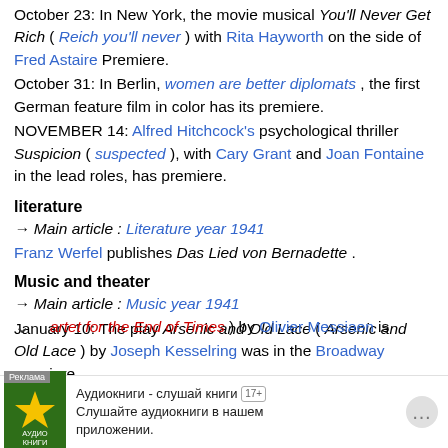October 23: In New York, the movie musical You'll Never Get Rich ( Reich you'll never ) with Rita Hayworth on the side of Fred Astaire Premiere.
October 31: In Berlin, women are better diplomats , the first German feature film in color has its premiere.
NOVEMBER 14: Alfred Hitchcock's psychological thriller Suspicion ( suspected ), with Cary Grant and Joan Fontaine in the lead roles, has premiere.
literature
→ Main article : Literature year 1941
Franz Werfel publishes Das Lied von Bernadette .
Music and theater
→ Main article : Music year 1941
January 10: The play Arsenic and Old Lace ( Arsenic and Old Lace ) by Joseph Kesselring was in the Broadway premiere.
January 15th: The Quatuor pour la fin du temps ( artet for the End of Times ) by Olivier Messiaen is